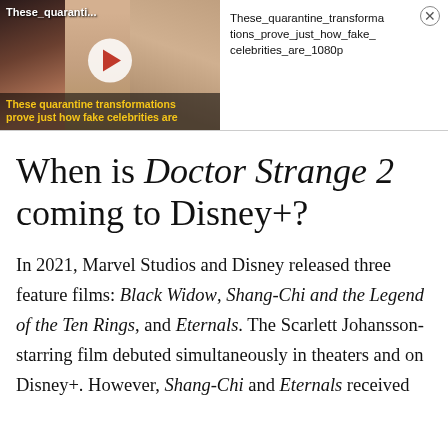[Figure (screenshot): Video ad thumbnail showing three women's faces with a play button and caption 'These quarantine transformations prove just how fake celebrities are', alongside the filename text panel]
When is Doctor Strange 2 coming to Disney+?
In 2021, Marvel Studios and Disney released three feature films: Black Widow, Shang-Chi and the Legend of the Ten Rings, and Eternals. The Scarlett Johansson-starring film debuted simultaneously in theaters and on Disney+. However, Shang-Chi and Eternals received